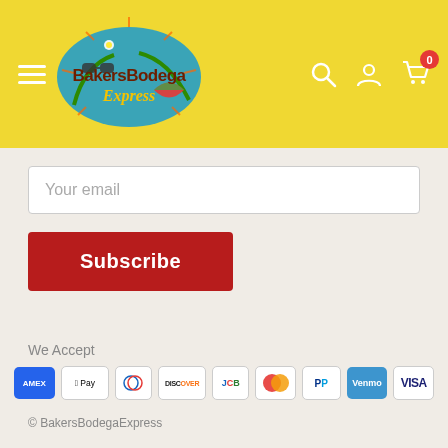[Figure (logo): BakersBodega Express logo with summer tropical theme on yellow header background]
Your email
Subscribe
We Accept
[Figure (infographic): Payment method icons: Amex, Apple Pay, Diners Club, Discover, JCB, Mastercard, PayPal, Venmo, Visa]
© BakersBodegaExpress